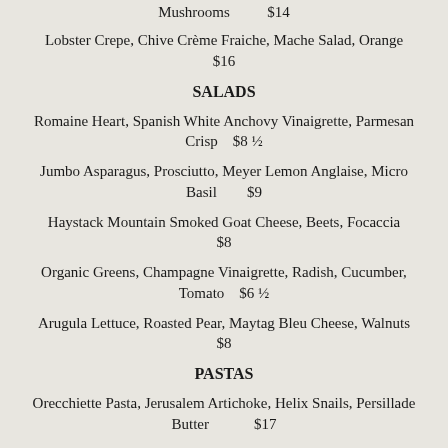Crispy Sweetbreads, Salmion Puree, Portage Mushrooms $14
Lobster Crepe, Chive Crème Fraiche, Mache Salad, Orange $16
SALADS
Romaine Heart, Spanish White Anchovy Vinaigrette, Parmesan Crisp $8 ½
Jumbo Asparagus, Prosciutto, Meyer Lemon Anglaise, Micro Basil $9
Haystack Mountain Smoked Goat Cheese, Beets, Focaccia $8
Organic Greens, Champagne Vinaigrette, Radish, Cucumber, Tomato $6 ½
Arugula Lettuce, Roasted Pear, Maytag Bleu Cheese, Walnuts $8
PASTAS
Orecchiette Pasta, Jerusalem Artichoke, Helix Snails, Persillade Butter $17